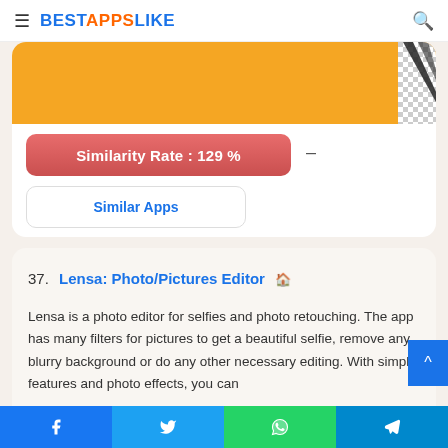BESTAPPSLIKE
[Figure (screenshot): App screenshot showing orange background with checkerboard pattern overlay]
Similarity Rate : 129 %
Similar Apps
37. Lensa: Photo/Pictures Editor
Lensa is a photo editor for selfies and photo retouching. The app has many filters for pictures to get a beautiful selfie, remove any blurry background or do any other necessary editing. With simple features and photo effects, you can
Facebook | Twitter | WhatsApp | Telegram